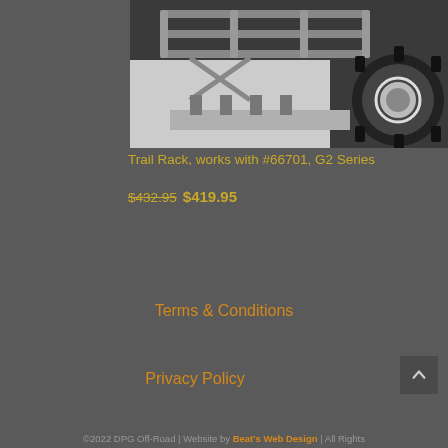[Figure (photo): Photo of a trail rack/roof rack mounted on an off-road vehicle, showing metal tube frame construction with large off-road tire visible on the right side.]
Trail Rack, works with #66701, G2 Series
$432.95 $419.95
Terms & Conditions
Privacy Policy
©2022 DPG Off-Road | Website by Beat's Web Design | All Rights